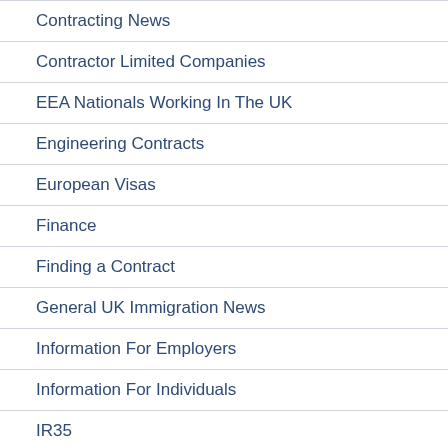Contracting News
Contractor Limited Companies
EEA Nationals Working In The UK
Engineering Contracts
European Visas
Finance
Finding a Contract
General UK Immigration News
Information For Employers
Information For Individuals
IR35
IT & Engineering Consulting